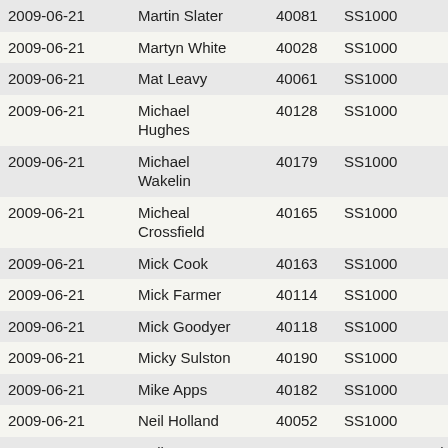| Date | Name | ID | Class | Notes |
| --- | --- | --- | --- | --- |
| 2009-06-21 | Martin Slater | 40081 | SS1000 |  |
| 2009-06-21 | Martyn White | 40028 | SS1000 |  |
| 2009-06-21 | Mat Leavy | 40061 | SS1000 |  |
| 2009-06-21 | Michael Hughes | 40128 | SS1000 |  |
| 2009-06-21 | Michael Wakelin | 40179 | SS1000 |  |
| 2009-06-21 | Micheal Crossfield | 40165 | SS1000 |  |
| 2009-06-21 | Mick Cook | 40163 | SS1000 |  |
| 2009-06-21 | Mick Farmer | 40114 | SS1000 |  |
| 2009-06-21 | Mick Goodyer | 40118 | SS1000 |  |
| 2009-06-21 | Micky Sulston | 40190 | SS1000 |  |
| 2009-06-21 | Mike Apps | 40182 | SS1000 |  |
| 2009-06-21 | Neil Holland | 40052 | SS1000 |  |
| 2009-06-21 | Neil James | 40129 | SS1000 | Harley-Davidson FLSTF Fat Boy |
| 2009-06-21 | Neil Rogers | 51151 | SS1000 | Honda ST1100 Pa… |